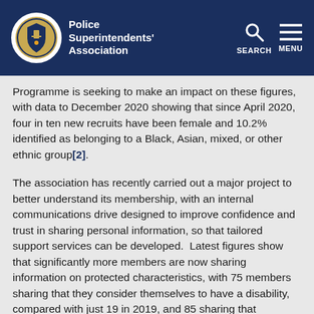Police Superintendents' Association
Programme is seeking to make an impact on these figures, with data to December 2020 showing that since April 2020, four in ten new recruits have been female and 10.2% identified as belonging to a Black, Asian, mixed, or other ethnic group[2].
The association has recently carried out a major project to better understand its membership, with an internal communications drive designed to improve confidence and trust in sharing personal information, so that tailored support services can be developed.  Latest figures show that significantly more members are now sharing information on protected characteristics, with 75 members sharing that they consider themselves to have a disability, compared with just 19 in 2019, and 85 sharing that